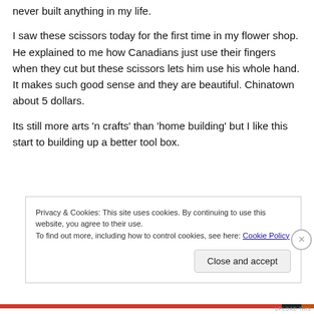never built anything in my life.
I saw these scissors today for the first time in my flower shop. He explained to me how Canadians just use their fingers when they cut but these scissors lets him use his whole hand. It makes such good sense and they are beautiful. Chinatown about 5 dollars.
Its still more arts ‘n crafts’ than ‘home building’ but I like this start to building up a better tool box.
Privacy & Cookies: This site uses cookies. By continuing to use this website, you agree to their use.
To find out more, including how to control cookies, see here: Cookie Policy
Close and accept